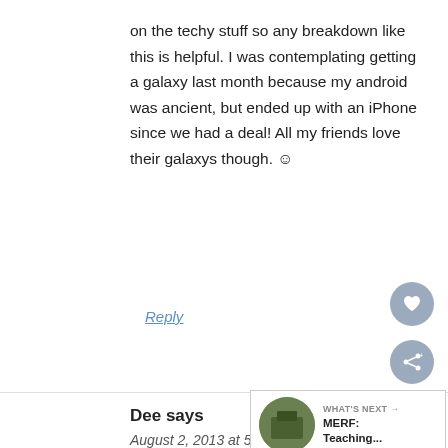on the techy stuff so any breakdown like this is helpful. I was contemplating getting a galaxy last month because my android was ancient, but ended up with an iPhone since we had a deal! All my friends love their galaxys though. ☺
Reply
Dee says
August 2, 2013 at 5:58 pm
[Figure (logo): LOVE logo with decorative black and white patterned letters]
[Figure (infographic): WHAT'S NEXT widget with thumbnail and text MERF: Teaching...]